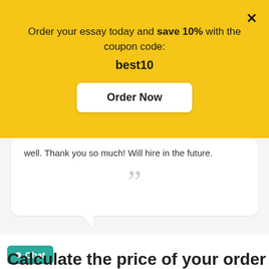Order your essay today and save 10% with the coupon code: best10
Order Now
well. Thank you so much! Will hire in the future.
Customer #31289
Biology (and other Life Sciences), 5 pages
Chat
Calculate the price of your order